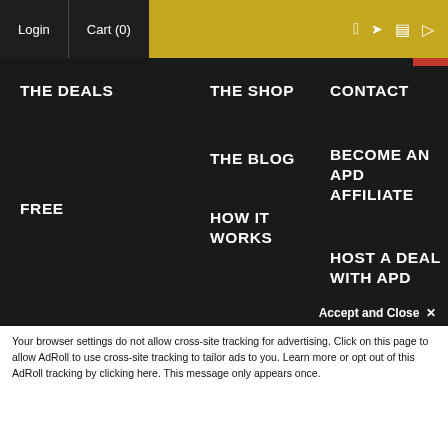Login | Cart (0)
THE DEALS
THE SHOP
CONTACT
THE BLOG
BECOME AN APD AFFILIATE
FREE
HOW IT WORKS
HOST A DEAL WITH APD
Partners: Lunatic Audio | Artistry Audio
Copyright © 2022 Audio Plugin Deals. All Rights Reserved.
Terms and Conditions
Accept and Close ✕
Your browser settings do not allow cross-site tracking for advertising. Click on this page to allow AdRoll to use cross-site tracking to tailor ads to you. Learn more or opt out of this AdRoll tracking by clicking here. This message only appears once.